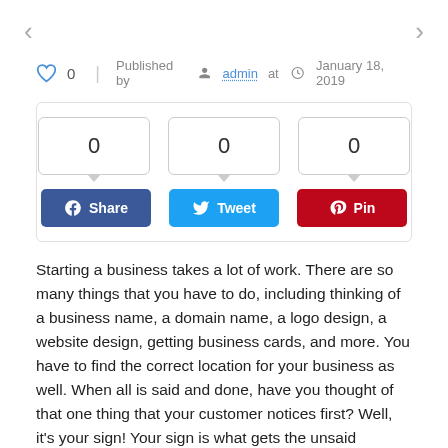[Figure (other): Navigation arrows (left < and right >) for a web article carousel]
♡ 0  |  Published by admin at  January 18, 2019
[Figure (other): Social share widget with three counter boxes showing 0 each, and Share (Facebook), Tweet (Twitter), Pin (Pinterest) buttons]
Starting a business takes a lot of work. There are so many things that you have to do, including thinking of a business name, a domain name, a logo design, a website design, getting business cards, and more. You have to find the correct location for your business as well. When all is said and done, have you thought of that one thing that your customer notices first? Well, it's your sign! Your sign is what gets the unsaid message across to your clients. But more often than not, businesses mess it up. You'll be surprised to know that quite a number of signs are designed to be